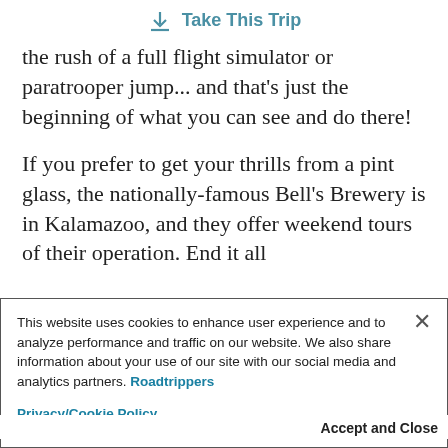Take This Trip
the rush of a full flight simulator or paratrooper jump... and that's just the beginning of what you can see and do there!
If you prefer to get your thrills from a pint glass, the nationally-famous Bell's Brewery is in Kalamazoo, and they offer weekend tours of their operation. End it all
This website uses cookies to enhance user experience and to analyze performance and traffic on our website. We also share information about your use of our site with our social media and analytics partners. Roadtrippers Privacy/Cookie Policy
Accept and Close
Your browser settings do not allow cross-site tracking for advertising. Click on this page to allow AdRoll to use cross-site tracking to tailor ads to you. Learn more or opt out of this AdRoll tracking by clicking here. This message only appears once.